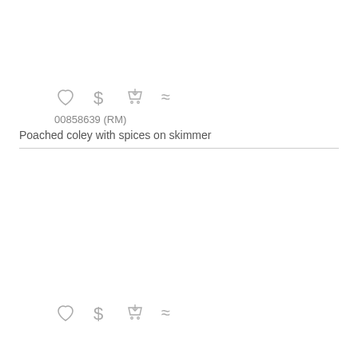[Figure (other): Row of icons: heart, dollar sign, shopping cart with download arrow, approximately-equal sign]
00858639 (RM)
Poached coley with spices on skimmer
[Figure (other): Row of icons: heart, dollar sign, shopping cart with download arrow, approximately-equal sign]